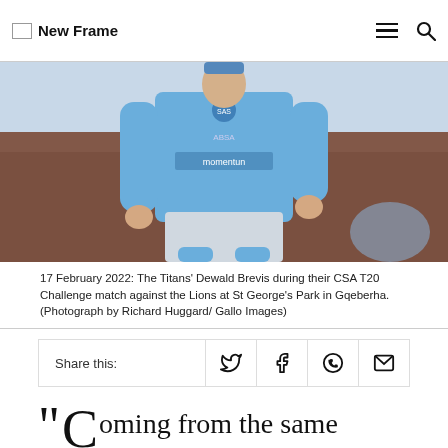New Frame
[Figure (photo): Cricket player Dewald Brevis of the Titans running in a blue Momentum-sponsored kit during a CSA T20 Challenge match]
17 February 2022: The Titans' Dewald Brevis during their CSA T20 Challenge match against the Lions at St George's Park in Gqeberha. (Photograph by Richard Huggard/ Gallo Images)
Share this:
oming from the same school, having the